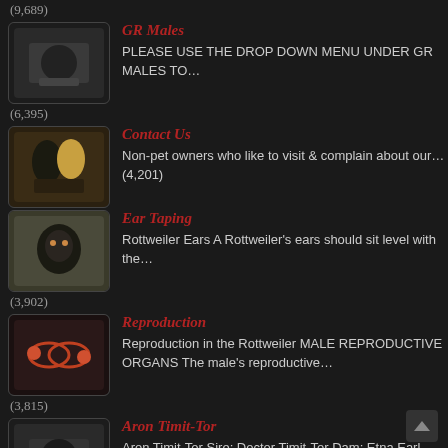(9,689)
GR Males — PLEASE USE THE DROP DOWN MENU UNDER GR MALES TO…
(6,395)
Contact Us — Non-pet owners who like to visit & complain about our…
(4,201)
Ear Taping — Rottweiler Ears A Rottweiler's ears should sit level with the…
(3,902)
Reproduction — Reproduction in the Rottweiler MALE REPRODUCTIVE ORGANS The male's reproductive…
(3,815)
Aron Timit-Tor — Aron Timit-Tor Sire: Doctor Timit-Tor Dam: Etna Earl Antonius Born:…